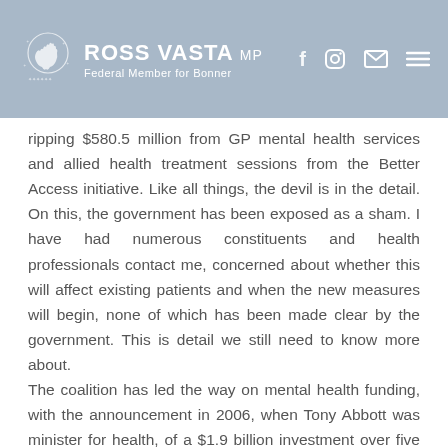ROSS VASTA MP Federal Member for Bonner
ripping $580.5 million from GP mental health services and allied health treatment sessions from the Better Access initiative. Like all things, the devil is in the detail. On this, the government has been exposed as a sham. I have had numerous constituents and health professionals contact me, concerned about whether this will affect existing patients and when the new measures will begin, none of which has been made clear by the government. This is detail we still need to know more about. The coalition has led the way on mental health funding, with the announcement in 2006, when Tony Abbott was minister for health, of a $1.9 billion investment over five years in mental health. The coalition's 2010 election policy was $1.5